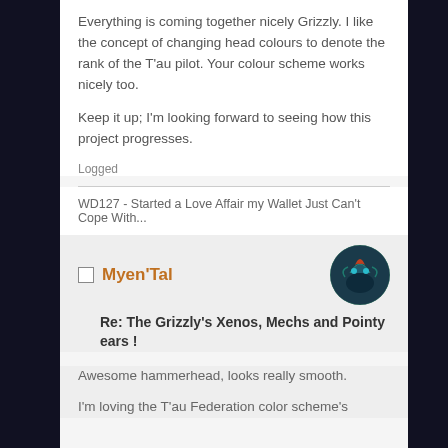Everything is coming together nicely Grizzly. I like the concept of changing head colours to denote the rank of the T'au pilot. Your colour scheme works nicely too.
Keep it up; I'm looking forward to seeing how this project progresses.
Logged
WD127 - Started a Love Affair my Wallet Just Can't Cope With...
Myen'Tal
Re: The Grizzly's Xenos, Mechs and Pointy ears !
Awesome hammerhead, looks really smooth.
I'm loving the T'au Federation color scheme's